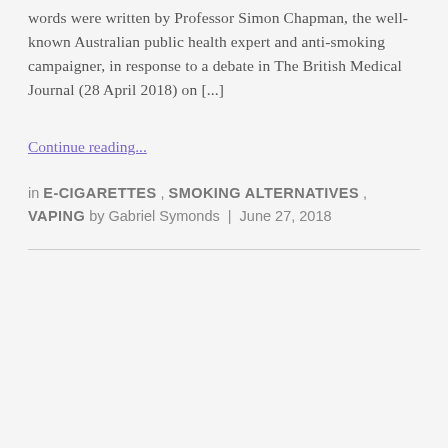words were written by Professor Simon Chapman, the well-known Australian public health expert and anti-smoking campaigner, in response to a debate in The British Medical Journal (28 April 2018) on [...]
Continue reading...
in E-CIGARETTES , SMOKING ALTERNATIVES , VAPING by Gabriel Symonds | June 27, 2018